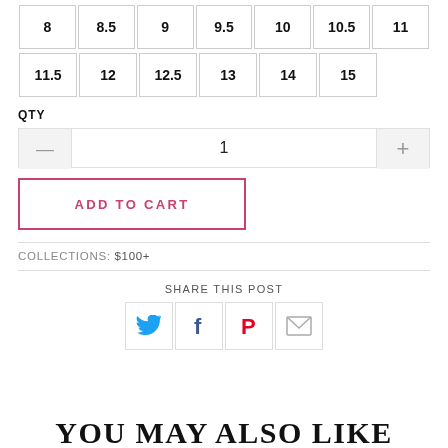8, 8.5, 9, 9.5, 10, 10.5, 11
11.5, 12, 12.5, 13, 14, 15
QTY
— 1 +
ADD TO CART
COLLECTIONS: $100+
SHARE THIS POST
[Figure (infographic): Social share icons: Twitter (blue bird), Facebook (blue f), Pinterest (red P), Email (envelope)]
YOU MAY ALSO LIKE